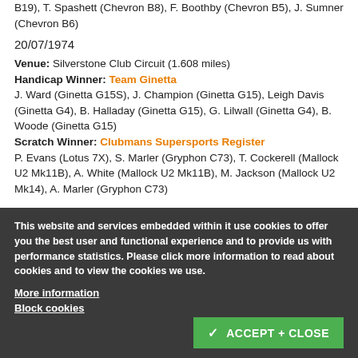B19), T. Spashett (Chevron B8), F. Boothby (Chevron B5), J. Sumner (Chevron B6)
20/07/1974
Venue: Silverstone Club Circuit (1.608 miles)
Handicap Winner: Team Ginetta
J. Ward (Ginetta G15S), J. Champion (Ginetta G15), Leigh Davis (Ginetta G4), B. Halladay (Ginetta G15), G. Lilwall (Ginetta G4), B. Woode (Ginetta G15)
Scratch Winner: Clubmans Supersports Register
P. Evans (Lotus 7X), S. Marler (Gryphon C73), T. Cockerell (Mallock U2 Mk11B), A. White (Mallock U2 Mk11B), M. Jackson (Mallock U2 Mk14), A. Marler (Gryphon C73)
This website and services embedded within it use cookies to offer you the best user and functional experience and to provide us with performance statistics. Please click more information to read about cookies and to view the cookies we use.
More information
Block cookies
ACCEPT + CLOSE